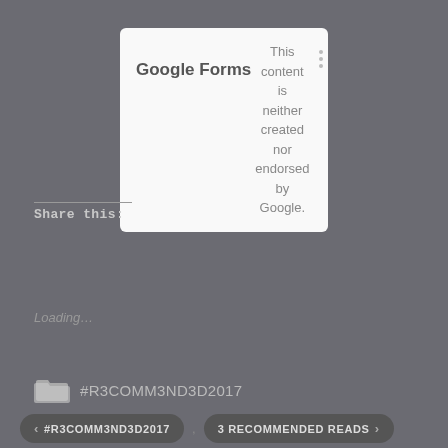[Figure (screenshot): Google Forms branding box with logo on left, disclaimer text 'This content is neither created nor endorsed by Google.' in center, and three-dot menu icon on right]
Share this:
[Figure (screenshot): Twitter share button with bird icon]
[Figure (screenshot): Facebook share button with F icon]
Loading...
#R3COMM3ND3D2017
#R3COMM3ND3D2017
3 RECOMMENDED READS